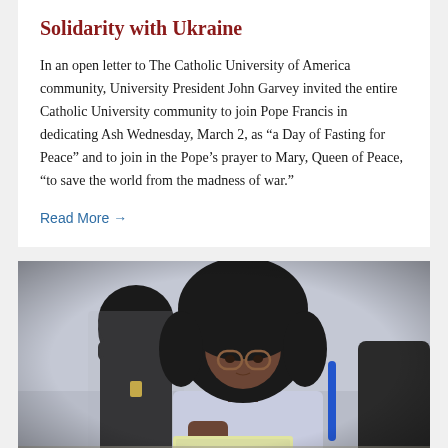Solidarity with Ukraine
In an open letter to The Catholic University of America community, University President John Garvey invited the entire Catholic University community to join Pope Francis in dedicating Ash Wednesday, March 2, as “a Day of Fasting for Peace” and to join in the Pope’s prayer to Mary, Queen of Peace, “to save the world from the madness of war.”
Read More →
[Figure (photo): A female student with curly hair and glasses sits attentively at a desk in a classroom, with another student wearing a black hijab visible in the background.]